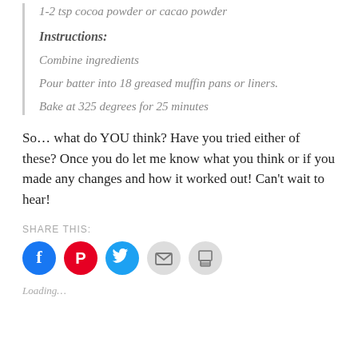1-2 tsp cocoa powder or cacao powder
Instructions:
Combine ingredients
Pour batter into 18 greased muffin pans or liners.
Bake at 325 degrees for 25 minutes
So… what do YOU think?  Have you tried either of these?  Once you do let me know what you think or if you made any changes and how it worked out!  Can't wait to hear!
SHARE THIS:
[Figure (infographic): Row of five social sharing buttons: Facebook (blue circle), Pinterest (red circle), Twitter (blue circle), Email (gray circle), Print (gray circle)]
Loading…